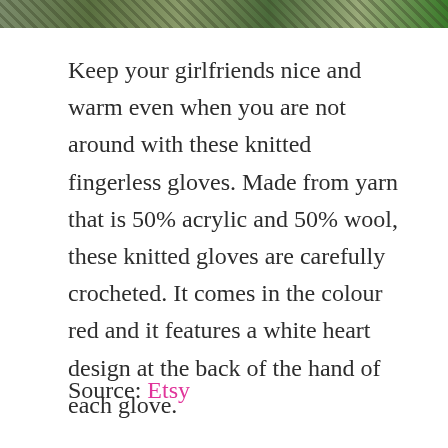[Figure (photo): Partial top strip of a photo showing knitted gloves against a natural/outdoor background with green and muted tones]
Keep your girlfriends nice and warm even when you are not around with these knitted fingerless gloves. Made from yarn that is 50% acrylic and 50% wool, these knitted gloves are carefully crocheted. It comes in the colour red and it features a white heart design at the back of the hand of each glove.
Source: Etsy